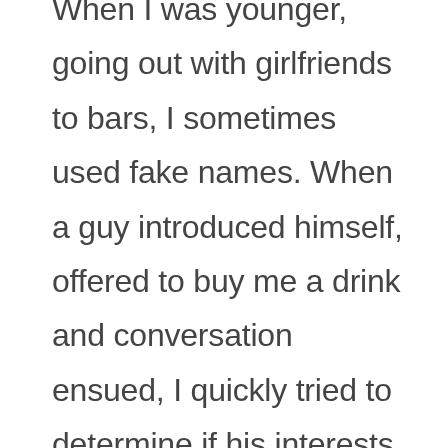When I was younger, going out with girlfriends to bars, I sometimes used fake names. When a guy introduced himself, offered to buy me a drink and conversation ensued, I quickly tried to determine if his interests